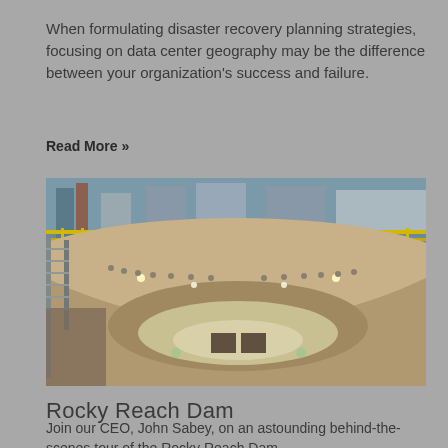When formulating disaster recovery planning strategies, focusing on data center geography may be the difference between your organization's success and failure.
Read More »
[Figure (photo): Interior photograph of Rocky Reach Dam showing a large circular turbine pit with industrial equipment, yellow railings, scaffolding, and lighting around the curved concrete walls.]
Rocky Reach Dam
Join our CEO, John Sabey, on an astounding behind-the-scenes tour of the Rocky Reach Dam.